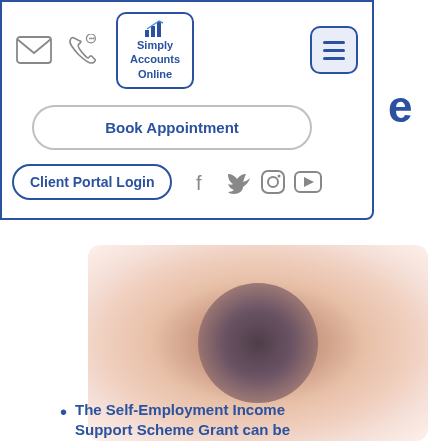[Figure (screenshot): Website navigation header for Simply Accounts Online with email icon, phone icon, logo, hamburger menu button, Book Appointment button, Client Portal Login button, and social media icons (Facebook, Twitter, Instagram, YouTube)]
[Figure (photo): Blurred photo of a person, used as hero/banner image on the Simply Accounts Online website]
The Self-Employment Income Support Scheme Grant can be…